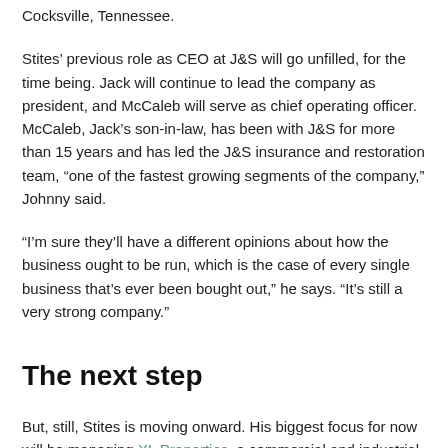Cocksville, Tennessee.
Stites’ previous role as CEO at J&S will go unfilled, for the time being. Jack will continue to lead the company as president, and McCaleb will serve as chief operating officer. McCaleb, Jack’s son-in-law, has been with J&S for more than 15 years and has led the J&S insurance and restoration team, “one of the fastest growing segments of the company,” Johnny said.
“I’m sure they’ll have a different opinions about how the business ought to be run, which is the case of every single business that’s ever been bought out,” he says. “It’s still a very strong company.”
The next step
But, still, Stites is moving onward. His biggest focus for now will be managing XL Properties, a commercial and industrial real